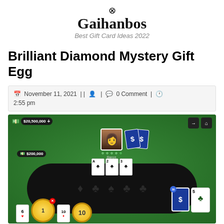Gaihanbos — Best Gift Card Ideas 2022
Brilliant Diamond Mystery Gift Egg
November 11, 2021 || [user icon] | [comment icon] 0 Comment | [clock icon] 2:55 pm
[Figure (screenshot): A mobile poker game screenshot showing a green felt table with player avatar, blue card backs showing dollar signs, community cards (A♠, 2♠, 3♠), dark oval table with card suit symbols, player chip count $20,500,000, stack $200,000, hand cards with a blue dollar card and 5 of clubs, and bottom row showing cards 6, 10, and a yellow chip.]